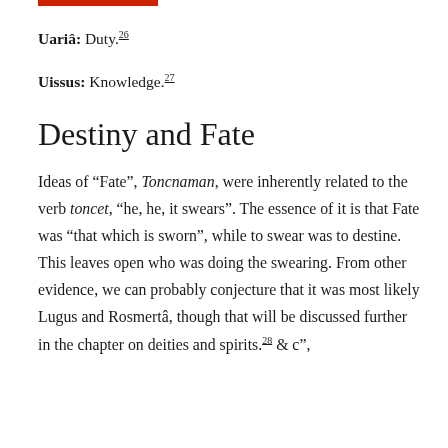Uariâ: Duty.26
Uissus: Knowledge.27
Destiny and Fate
Ideas of "Fate", Toncnaman, were inherently related to the verb toncet, "he, he, it swears". The essence of it is that Fate was "that which is sworn", while to swear was to destine. This leaves open who was doing the swearing. From other evidence, we can probably conjecture that it was most likely Lugus and Rosmertâ, though that will be discussed further in the chapter on deities and spirits.28 & c",